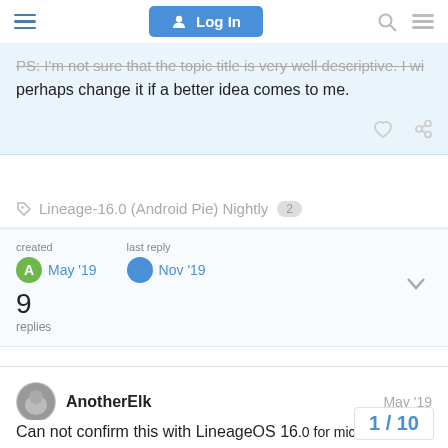Log In
PS: I'm not sure that the topic title is very well descriptive. I will perhaps change it if a better idea comes to me.
Lineage-16.0 (Android Pie) Nightly  2
created May '19  last reply Nov '19  9 replies
AnotherElk  May '19
Can not confirm this with LineageOS 16.0 for microG (build 20190513).
1 / 10